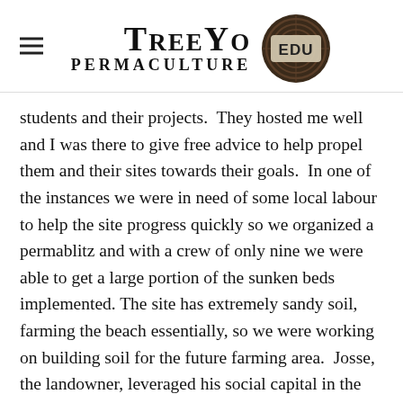TreeYo Permaculture EDU
students and their projects.  They hosted me well and I was there to give free advice to help propel them and their sites towards their goals.  In one of the instances we were in need of some local labour to help the site progress quickly so we organized a permablitz and with a crew of only nine we were able to get a large portion of the sunken beds implemented. The site has extremely sandy soil, farming the beach essentially, so we were working on building soil for the future farming area.  Josse, the landowner, leveraged his social capital in the area and we had good times ending with some food and some beers.  One last instance was at a yoga retreat I was being employed at in Southern Spain in 2016 and '17.  The